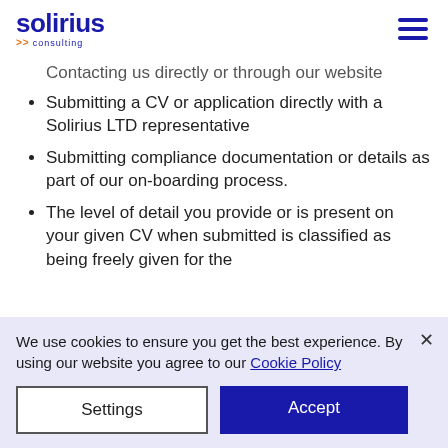solirius >> consulting
Contacting us directly or through our website
Submitting a CV or application directly with a Solirius LTD representative
Submitting compliance documentation or details as part of our on-boarding process.
The level of detail you provide or is present on your given CV when submitted is classified as being freely given for the
We use cookies to ensure you get the best experience. By using our website you agree to our Cookie Policy